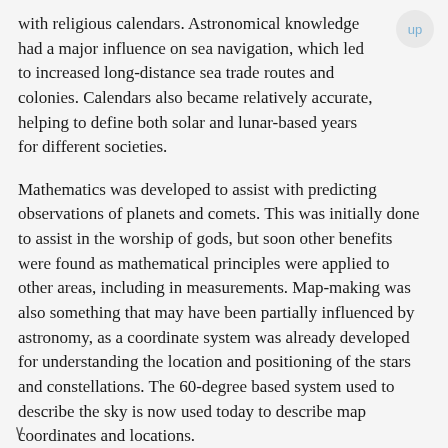with religious calendars. Astronomical knowledge had a major influence on sea navigation, which led to increased long-distance sea trade routes and colonies. Calendars also became relatively accurate, helping to define both solar and lunar-based years for different societies.
Mathematics was developed to assist with predicting observations of planets and comets. This was initially done to assist in the worship of gods, but soon other benefits were found as mathematical principles were applied to other areas, including in measurements. Map-making was also something that may have been partially influenced by astronomy, as a coordinate system was already developed for understanding the location and positioning of the stars and constellations. The 60-degree based system used to describe the sky is now used today to describe map coordinates and locations.